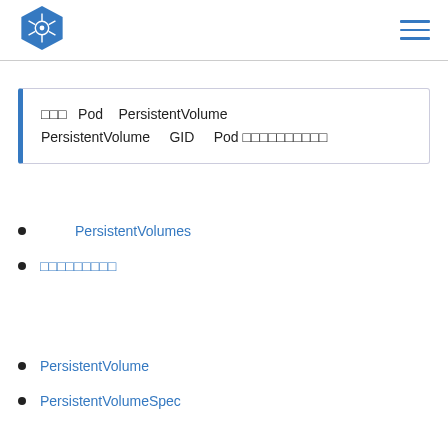[Figure (logo): Kubernetes logo - blue hexagon with ship wheel]
□□□ Pod PersistentVolume PersistentVolume GID Pod □□□□□□□□□□
PersistentVolumes
□□□□□□□□□
PersistentVolume
PersistentVolumeSpec